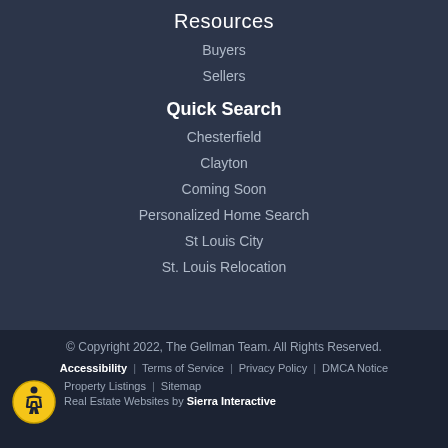Resources
Buyers
Sellers
Quick Search
Chesterfield
Clayton
Coming Soon
Personalized Home Search
St Louis City
St. Louis Relocation
© Copyright 2022, The Gellman Team. All Rights Reserved. Accessibility | Terms of Service | Privacy Policy | DMCA Notice | Property Listings | Sitemap Real Estate Websites by Sierra Interactive